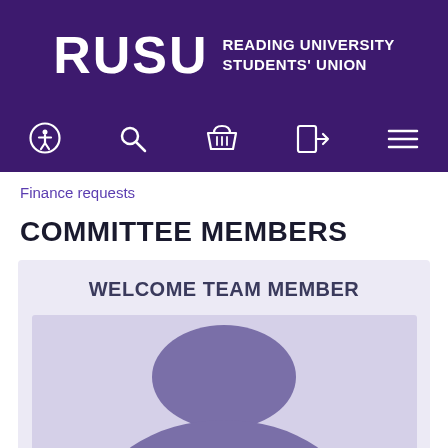RUSU READING UNIVERSITY STUDENTS' UNION
Finance requests
COMMITTEE MEMBERS
[Figure (infographic): Member card with WELCOME TEAM MEMBER heading, placeholder avatar silhouette, and member name Harris Ahmed]
Harris Ahmed